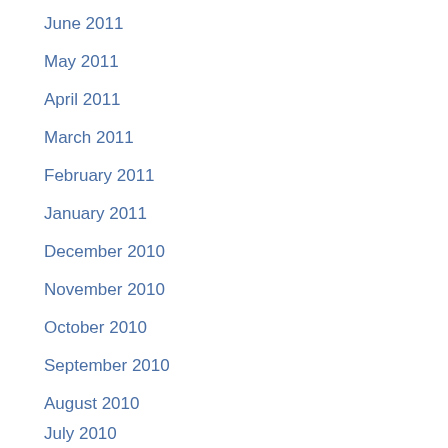June 2011
May 2011
April 2011
March 2011
February 2011
January 2011
December 2010
November 2010
October 2010
September 2010
August 2010
July 2010